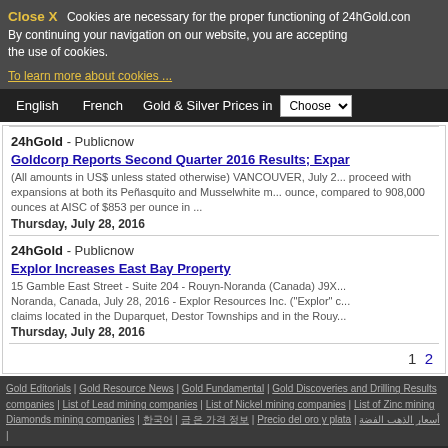Close X  Cookies are necessary for the proper functioning of 24hGold.com. By continuing your navigation on our website, you are accepting the use of cookies.
To learn more about cookies ...
English | French | Gold & Silver Prices in | Choose
24hGold - Publicnow
Goldcorp Reports Second Quarter 2016 Results; Expan...
(All amounts in US$ unless stated otherwise) VANCOUVER, July 2... proceed with expansions at both its Peñasquito and Musselwhite m... ounce, compared to 908,000 ounces at AISC of $853 per ounce in ...
Thursday, July 28, 2016
24hGold - Publicnow
Explor Increases East Bay Property
15 Gamble East Street - Suite 204 - Rouyn-Noranda (Canada) J9X... Noranda, Canada, July 28, 2016 - Explor Resources Inc. ("Explor" c... claims located in the Duparquet, Destor Townships and in the Rouy...
Thursday, July 28, 2016
1  2
Gold Editorials | Gold Resource News | Gold Fundamental | Gold Discoveries and Drilling Results... companies | List of Lead mining companies | List of Nickel mining companies | List of Zinc mining... Diamonds mining companies | ... | ... | Precio del oro y plata | أسعار الذهب الفضة |